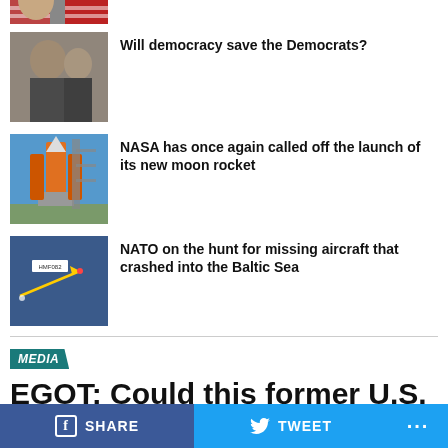[Figure (photo): Partial photo at top, partially cropped, appears to show a person with a US flag]
Will democracy save the Democrats?
[Figure (photo): Photo of elderly man, possibly a political figure, with another person behind him]
NASA has once again called off the launch of its new moon rocket
[Figure (photo): Photo of large orange rocket on launch pad against blue sky]
NATO on the hunt for missing aircraft that crashed into the Baltic Sea
[Figure (photo): Map/radar screenshot showing flight path labeled HMF082 over Baltic Sea area]
MEDIA
EGOT: Could this former U.S.
SHARE   TWEET   ...